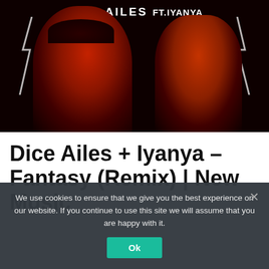[Figure (photo): Music single artwork showing two men (Dice Ailes and Iyanya) against a dark red background with white text and lightning bolt graphics. Text reads 'Dice Ailes ft. Iyanya' at top.]
Dice Ailes + Iyanya – Fantasy (Remix) | New Music
We use cookies to ensure that we give you the best experience on our website. If you continue to use this site we will assume that you are happy with it.